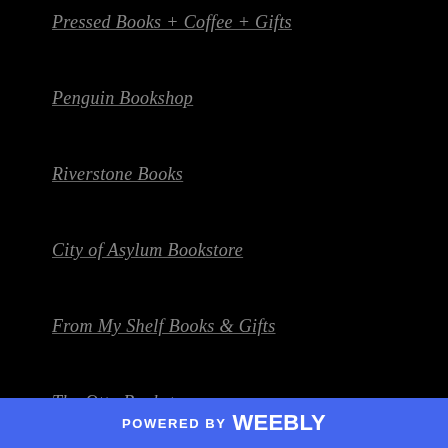Pressed Books + Coffee + Gifts
Penguin Bookshop
Riverstone Books
City of Asylum Bookstore
From My Shelf Books & Gifts
The Otto Bookstore
Aaron's Books
Let's Play Books!
POWERED BY weebly